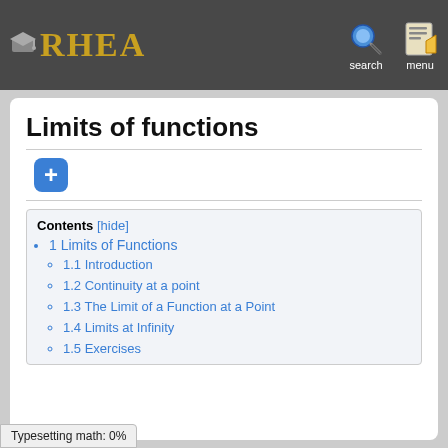RHEA — search — menu
Limits of functions
[Figure (other): Blue plus button icon]
Contents [hide]
1 Limits of Functions
1.1 Introduction
1.2 Continuity at a point
1.3 The Limit of a Function at a Point
1.4 Limits at Infinity
1.5 Exercises
Typesetting math: 0%